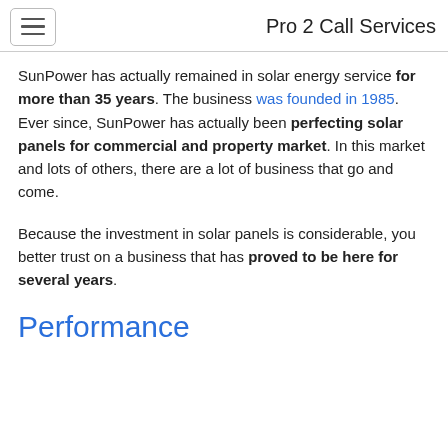Pro 2 Call Services
SunPower has actually remained in solar energy service for more than 35 years. The business was founded in 1985. Ever since, SunPower has actually been perfecting solar panels for commercial and property market. In this market and lots of others, there are a lot of business that go and come.
Because the investment in solar panels is considerable, you better trust on a business that has proved to be here for several years.
Performance